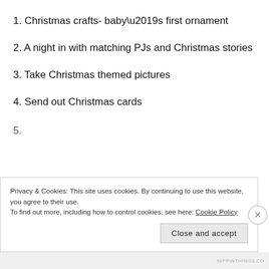1. Christmas crafts- baby’s first ornament
2. A night in with matching PJs and Christmas stories
3. Take Christmas themed pictures
4. Send out Christmas cards
Privacy & Cookies: This site uses cookies. By continuing to use this website, you agree to their use.
To find out more, including how to control cookies, see here: Cookie Policy